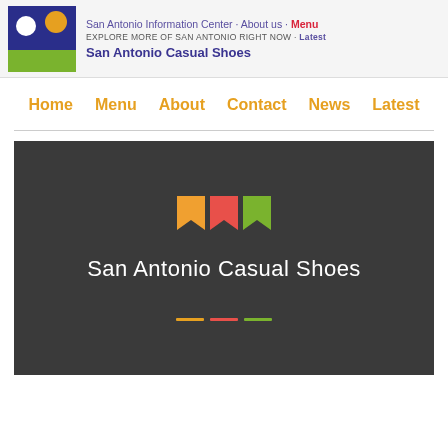San Antonio Information Center · About us · Menu | EXPLORE MORE OF SAN ANTONIO RIGHT NOW · Latest | San Antonio Casual Shoes
Home  Menu  About  Contact  News  Latest
[Figure (screenshot): Dark hero banner with three bookmark icons (orange, pink, green) and white text reading San Antonio Casual Shoes, with three colored dash indicators at the bottom]